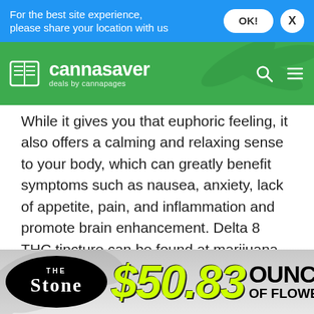For the best site experience, please share your location with us
[Figure (logo): Cannasaver logo - deals by cannapages, on green background with cannabis leaf imagery]
While it gives you that euphoric feeling, it also offers a calming and relaxing sense to your body, which can greatly benefit symptoms such as nausea, anxiety, lack of appetite, pain, and inflammation and promote brain enhancement. Delta 8 THC tincture can be found at marijuana dispensaries--or even retail shops that sell hemp or CBD in non-cannabis states. Although not required, it can be prescribed by a medical physician who has diagnosed your condition and believes this product to be a positive
[Figure (advertisement): The Stone dispensary ad: black oval logo with THE STONE text, $50.83 price in yellow-green, OUNCE OF FLOWER text in black]